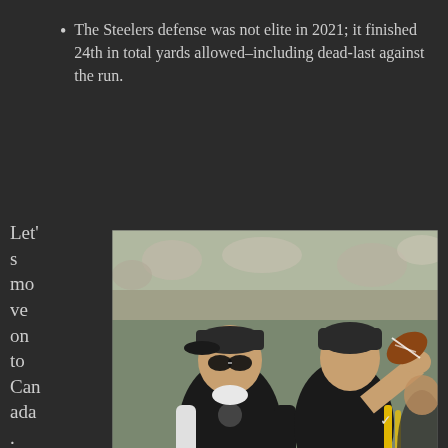The Steelers defense was not elite in 2021; it finished 24th in total yards allowed–including dead-last against the run.
Let's move on to Canada. What a crappy offense
[Figure (photo): Randy Fichtner and Ben Roethlisberger on a football field, with Roethlisberger in a throwing motion wearing a Pittsburgh Steelers uniform. Fichtner stands to the left in a black Steelers jacket and sunglasses.]
Randy Fichtner & Ben Roethlisberger prior to Steelers 2015 game vs 49ers. Photo Credit: AP Gene J.Puskar, via Yahoo.